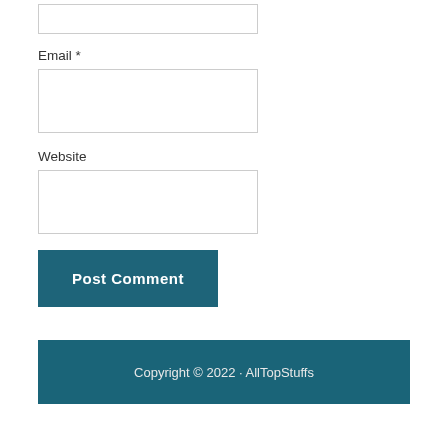Email *
Website
Post Comment
Copyright © 2022 · AllTopStuffs